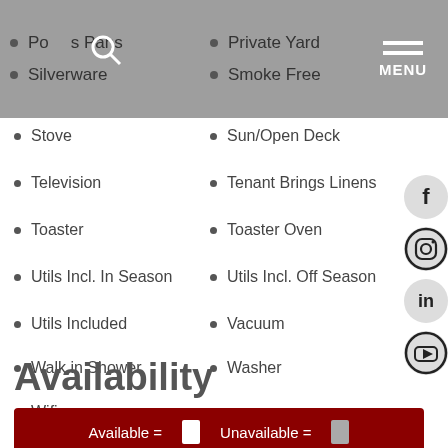Pots Pans • Silverware | Private Yard • Smoke Free | MENU
Stove
Sun/Open Deck
Television
Tenant Brings Linens
Toaster
Toaster Oven
Utils Incl. In Season
Utils Incl. Off Season
Utils Included
Vacuum
Walk in Shower
Washer
Wifi
Availability
Available =  □   Unavailable =  □
AUGUST 2022
Sun Mon Tue Wed Thu Fri Sat